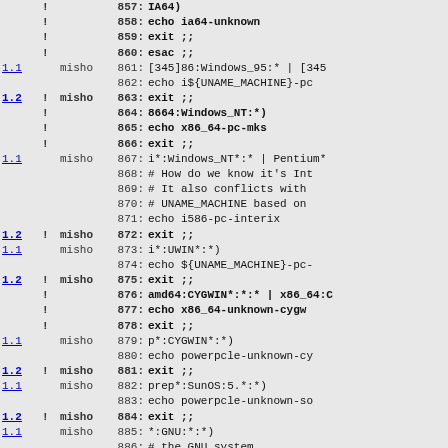| version | ! | who | line | code |
| --- | --- | --- | --- | --- |
|  | ! |  | 857: | IA64) |
|  | ! |  | 858: | echo ia64-unknown |
|  | ! |  | 859: | exit ;; |
|  | ! |  | 860: | esac ;; |
| 1.1 |  | misho | 861: | [345]86:Windows_95:* | [345 |
|  |  |  | 862: | echo i${UNAME_MACHINE}-pc |
| 1.2 | ! | misho | 863: | exit ;; |
|  | ! |  | 864: | 8664:Windows_NT:*) |
|  | ! |  | 865: | echo x86_64-pc-mks |
|  | ! |  | 866: | exit ;; |
| 1.1 |  | misho | 867: | i*:Windows_NT*:* | Pentium* |
|  |  |  | 868: | # How do we know it's Int |
|  |  |  | 869: | # It also conflicts with |
|  |  |  | 870: | # UNAME_MACHINE based on |
|  |  |  | 871: | echo i586-pc-interix |
| 1.2 | ! | misho | 872: | exit ;; |
| 1.1 |  | misho | 873: | i*:UWIN*:*) |
|  |  |  | 874: | echo ${UNAME_MACHINE}-pc- |
| 1.2 | ! | misho | 875: | exit ;; |
|  | ! |  | 876: | amd64:CYGWIN*:*:* | x86_64:C |
|  | ! |  | 877: | echo x86_64-unknown-cygw |
|  | ! |  | 878: | exit ;; |
| 1.1 |  | misho | 879: | p*:CYGWIN*:*) |
|  |  |  | 880: | echo powerpcle-unknown-cy |
| 1.2 | ! | misho | 881: | exit ;; |
| 1.1 |  | misho | 882: | prep*:SunOS:5.*:*) |
|  |  |  | 883: | echo powerpcle-unknown-so |
| 1.2 | ! | misho | 884: | exit ;; |
| 1.1 |  | misho | 885: | *:GNU:*:*) |
|  |  |  | 886: | # the GNU system |
|  |  |  | 887: | echo ${UNAME_MACHINE} |